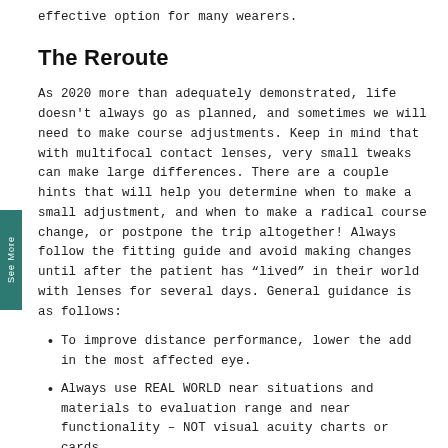effective option for many wearers.
The Reroute
As 2020 more than adequately demonstrated, life doesn't always go as planned, and sometimes we will need to make course adjustments. Keep in mind that with multifocal contact lenses, very small tweaks can make large differences. There are a couple hints that will help you determine when to make a small adjustment, and when to make a radical course change, or postpone the trip altogether! Always follow the fitting guide and avoid making changes until after the patient has “lived” in their world with lenses for several days. General guidance is as follows:
To improve distance performance, lower the add in the most affected eye.
Always use REAL WORLD near situations and materials to evaluation range and near functionality – NOT visual acuity charts or cards